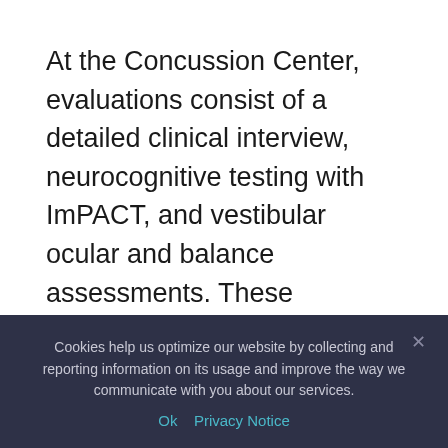At the Concussion Center, evaluations consist of a detailed clinical interview, neurocognitive testing with ImPACT, and vestibular ocular and balance assessments. These objective assessments provide opportunities to quantify the effects of head injury, measure recovery, and inform referrals to appropriate care providers as necessary.
All members of Stamford's concussion care
Cookies help us optimize our website by collecting and reporting information on its usage and improve the way we communicate with you about our services.
Ok   Privacy Notice